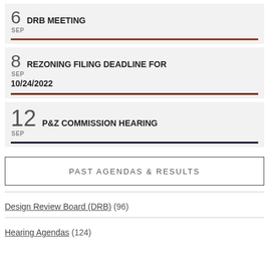6 SEP DRB MEETING
8 SEP REZONING FILING DEADLINE FOR 10/24/2022
12 SEP P&Z COMMISSION HEARING
PAST AGENDAS & RESULTS
Design Review Board (DRB) (96)
Hearing Agendas (124)